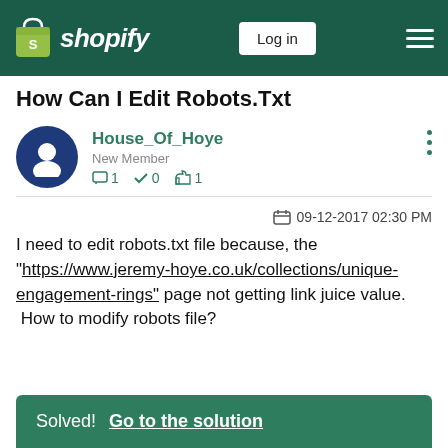Shopify — Log in
How Can I Edit Robots.Txt
House_Of_Hoye
New Member
1 0 1
09-12-2017 02:30 PM
I need to edit robots.txt file because, the "https://www.jeremy-hoye.co.uk/collections/unique-engagement-rings" page not getting link juice value. How to modify robots file?
Solved! Go to the solution